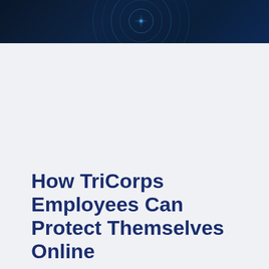[Figure (illustration): Dark navy header banner with a blue radar/HUD circle graphic with concentric rings and tick marks, suggesting a cybersecurity theme]
How TriCorps Employees Can Protect Themselves Online
Corey White, Intelligence Analyst – October 28th, 2021
Most cybersecurity breaches do not come